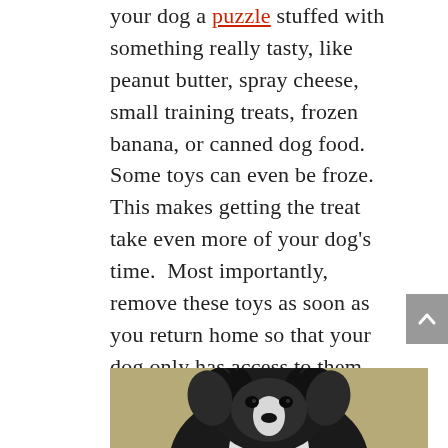your dog a puzzle stuffed with something really tasty, like peanut butter, spray cheese, small training treats, frozen banana, or canned dog food.  Some toys can even be froze. This makes getting the treat take even more of your dog's time.  Most importantly, remove these toys as soon as you return home so that your dog only has access to them when he's by himself.  They'll begin to associate something fun with you getting ready to leave the house and their time alone.
[Figure (photo): A small black and white fluffy dog (terrier mix) photographed from above, looking up at the camera, against a greenish-tan background.]